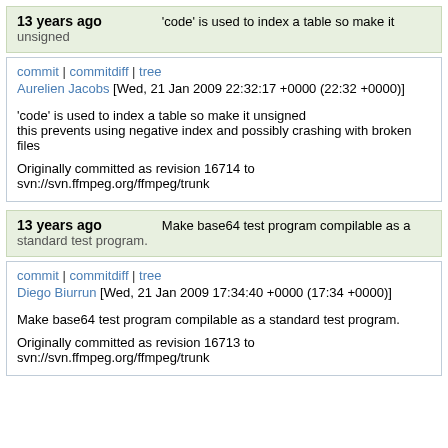13 years ago   'code' is used to index a table so make it unsigned
commit | commitdiff | tree
Aurelien Jacobs [Wed, 21 Jan 2009 22:32:17 +0000 (22:32 +0000)]
'code' is used to index a table so make it unsigned
this prevents using negative index and possibly crashing with broken files

Originally committed as revision 16714 to svn://svn.ffmpeg.org/ffmpeg/trunk
13 years ago   Make base64 test program compilable as a standard test program.
commit | commitdiff | tree
Diego Biurrun [Wed, 21 Jan 2009 17:34:40 +0000 (17:34 +0000)]
Make base64 test program compilable as a standard test program.

Originally committed as revision 16713 to svn://svn.ffmpeg.org/ffmpeg/trunk